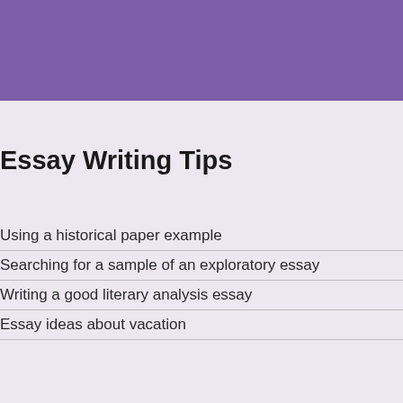[Figure (other): Purple banner at the top of the page]
Essay Writing Tips
Using a historical paper example
Searching for a sample of an exploratory essay
Writing a good literary analysis essay
Essay ideas about vacation
Is U Ess
Are yo not us minim should
Inspi